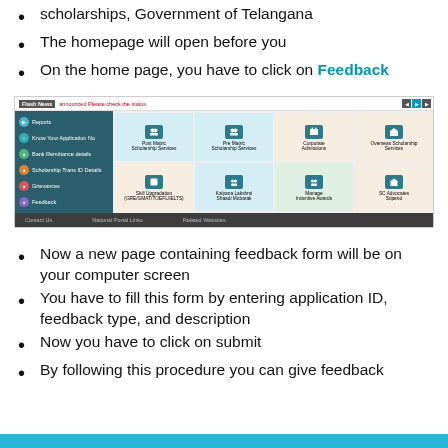scholarships, Government of Telangana
The homepage will open before you
On the home page, you have to click on Feedback
[Figure (screenshot): Screenshot of the TS scholarships portal homepage showing sidebar navigation with Reports, Know Your Application No, Bank Remittance details, Scholarship Trans ID Details, Grievances, Feedback, and a grid of service tiles including Post Matric Scholarship Services, Pre Matric Scholarship Services, Corporate Admissions, Overseas Scholarship Services, Skill Upgradation (GRE/GMAT/TOEFL/IELTS), Kalyana Lakshmi Shaadi Mubarak, Manage Incentive Awards, SC Advocates Stipend, and a footer bar with Contact Us, National Portal Links, Related Websites.]
Now a new page containing feedback form will be on your computer screen
You have to fill this form by entering application ID, feedback type, and description
Now you have to click on submit
By following this procedure you can give feedback